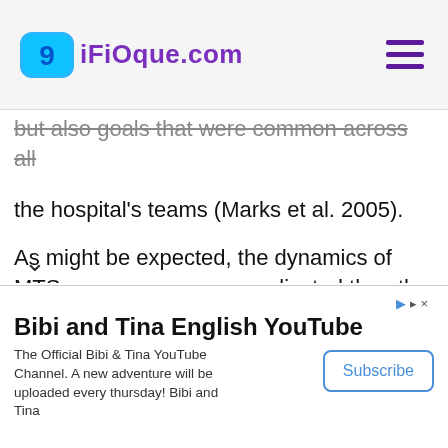9ifioque.com
but also goals that were common across all the hospital's teams (Marks et al. 2005).
As might be expected, the dynamics of MTSs are even more complicated than the dynamics of any one team. The teams in some MTSs, with sufficient experience, learn to work well together—they coordinate their efforts, communicate necessary information across the team boundaries, and respond appropriately to the organizational interventions of team leaders.
Bibi and Tina English YouTube
The Official Bibi & Tina YouTube Channel. A new adventure will be uploaded every thursday! Bibi and Tina
Subscribe